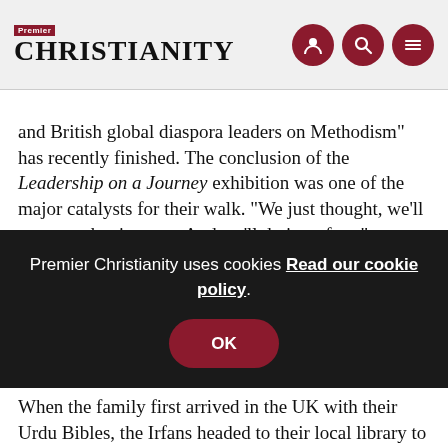Premier Christianity
and British global diaspora leaders on Methodism” has recently finished. The conclusion of the Leadership on a Journey exhibition was one of the major catalysts for their walk. “We just thought, we’ll carry on that journey. And we’ll do it on foot,” says Daud.
Both Daud and Rev John were invited to contribute to the exhibition, with Daud donating a toy drum that he used to play in church, and his father, Irfan, donating a certificate commemorating a world record that the family set in 2013 for the most nationalities — 55 — to take part in a na…
Premier Christianity uses cookies Read our cookie policy.
OK
When the family first arrived in the UK with their Urdu Bibles, the Irfans headed to their local library to find an